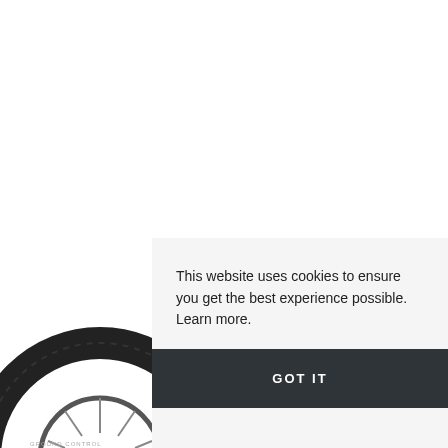[Figure (photo): Partial view of a bicycle tire with tread pattern, positioned in the bottom-left of the page. The tire is dark/black and shows the tread and side wall.]
This website uses cookies to ensure you get the best experience possible. Learn more.
GOT IT